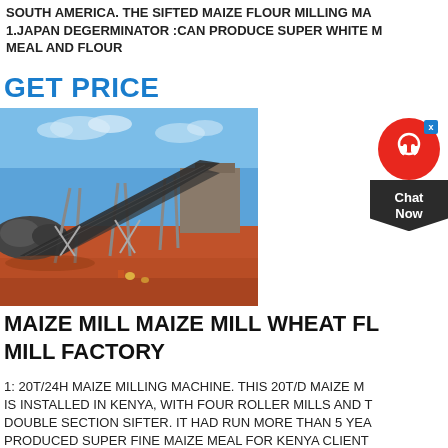SOUTH AMERICA. THE SIFTED MAIZE FLOUR MILLING MA... 1.JAPAN DEGERMINATOR :CAN PRODUCE SUPER WHITE M... MEAL AND FLOUR
GET PRICE
[Figure (photo): Outdoor industrial conveyor belt system on red dirt ground with blue sky, part of a maize milling installation in Kenya]
[Figure (other): Chat Now customer support widget with red circular icon and dark diamond-shaped button]
MAIZE MILL MAIZE MILL WHEAT FL... MILL FACTORY
1: 20T/24H MAIZE MILLING MACHINE. THIS 20T/D MAIZE M... IS INSTALLED IN KENYA, WITH FOUR ROLLER MILLS AND T... DOUBLE SECTION SIFTER. IT HAD RUN MORE THAN 5 YEA... PRODUCED SUPER FINE MAIZE MEAL FOR KENYA CLIENT...